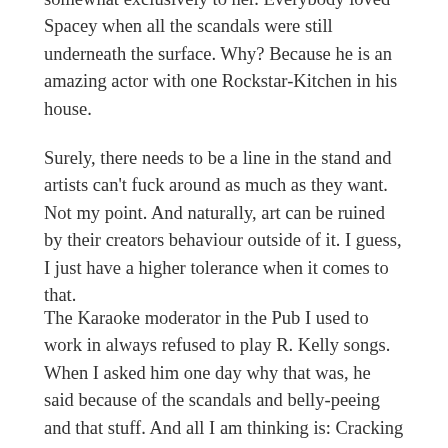somewhat exclusively to her. Everybody loved Spacey when all the scandals were still underneath the surface. Why? Because he is an amazing actor with one Rockstar-Kitchen in his house.
Surely, there needs to be a line in the stand and artists can't fuck around as much as they want. Not my point. And naturally, art can be ruined by their creators behaviour outside of it. I guess, I just have a higher tolerance when it comes to that.
The Karaoke moderator in the Pub I used to work in always refused to play R. Kelly songs. When I asked him one day why that was, he said because of the scandals and belly-peeing and that stuff. And all I am thinking is: Cracking tracks though… I mean, how many songs would we have to miss out on if you took that measure consequently? And how many guys out there perform superbly with their